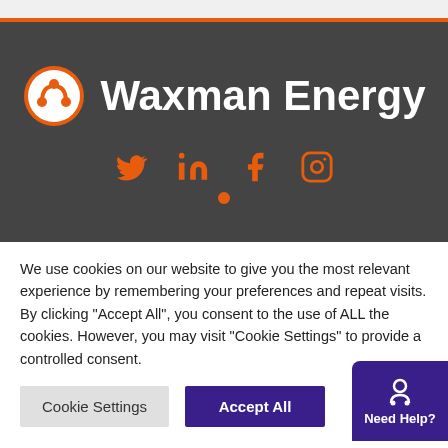[Figure (logo): Waxman Energy logo with orange circle icon and white brand name on dark grey background, with orange social media icons (Twitter, LinkedIn, Facebook, Instagram) below]
We use cookies on our website to give you the most relevant experience by remembering your preferences and repeat visits. By clicking "Accept All", you consent to the use of ALL the cookies. However, you may visit "Cookie Settings" to provide a controlled consent.
Cookie Settings
Accept All
Need Help?